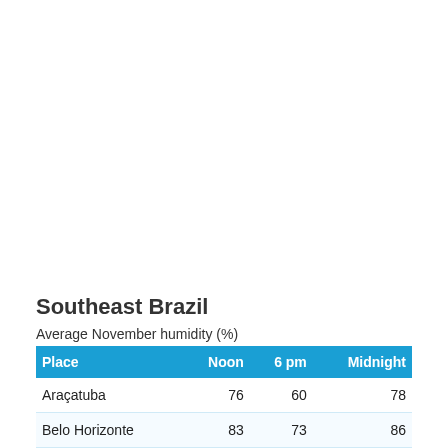Southeast Brazil
Average November humidity (%)
| Place | Noon | 6 pm | Midnight |
| --- | --- | --- | --- |
| Araçatuba | 76 | 60 | 78 |
| Belo Horizonte | 83 | 73 | 86 |